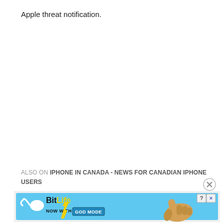Apple threat notification.
ALSO ON IPHONE IN CANADA - NEWS FOR CANADIAN IPHONE USERS
[Figure (screenshot): BitLife advertisement banner with blue background showing BitLife logo with sperm icon, 'NOW WITH GOD MODE' text button, yellow lightning bolt, and cartoon hand pointing right. Has question mark and X close buttons in top right corner.]